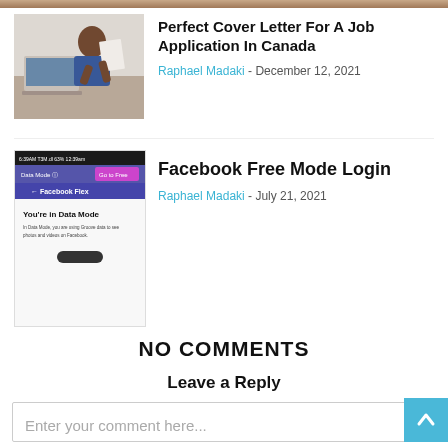[Figure (photo): Partial top strip of a photo showing people, cropped at top of page]
[Figure (photo): Woman sitting at desk with laptop, holding a paper document]
Perfect Cover Letter For A Job Application In Canada
Raphael Madaki - December 12, 2021
[Figure (screenshot): Phone screenshot showing Facebook Free Mode / Data Mode screen]
Facebook Free Mode Login
Raphael Madaki - July 21, 2021
NO COMMENTS
Leave a Reply
Enter your comment here...